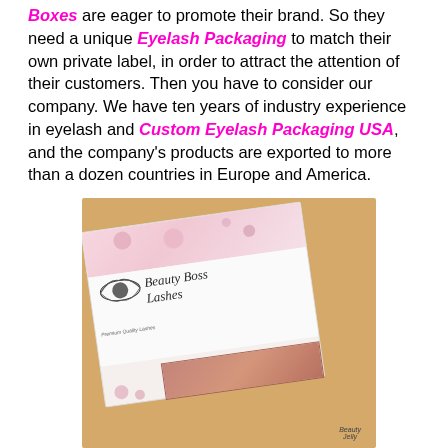Boxes are eager to promote their brand. So they need a unique Eyelash Packaging to match their own private label, in order to attract the attention of their customers. Then you have to consider our company. We have ten years of industry experience in eyelash and Custom Eyelash Packaging USA, and the company's products are exported to more than a dozen countries in Europe and America.
[Figure (photo): A custom eyelash packaging box branded 'Beauty Boss Lashes' with pink floral design on white background, displayed on a tan/gold surface. The box contains a glittery rose-gold product visible through a window cutout.]